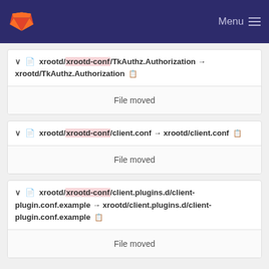GitLab navigation bar with Menu
xrootd/xrootd-conf/TkAuthz.Authorization → xrootd/TkAuthz.Authorization
File moved
xrootd/xrootd-conf/client.conf → xrootd/client.conf
File moved
xrootd/xrootd-conf/client.plugins.d/client-plugin.conf.example → xrootd/client.plugins.d/client-plugin.conf.example
File moved